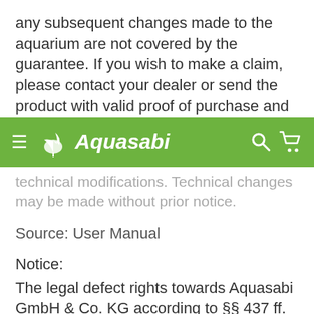any subsequent changes made to the aquarium are not covered by the guarantee. If you wish to make a claim, please contact your dealer or send the product with valid proof of purchase and postage paid to Dennerle's
[Figure (screenshot): Aquasabi website navigation bar with green background, hamburger menu icon, Aquasabi logo with plant icon and italic text, search icon, and shopping cart icon]
technical modifications. Technical changes may be made without prior notice.
Source: User Manual
Notice:
The legal defect rights towards Aquasabi GmbH & Co. KG according to §§ 437 ff. BGB (German Civil Code) are not compromised by this warranty